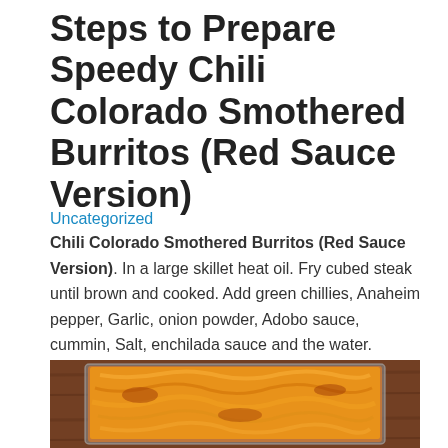Steps to Prepare Speedy Chili Colorado Smothered Burritos (Red Sauce Version)
Uncategorized
Chili Colorado Smothered Burritos (Red Sauce Version). In a large skillet heat oil. Fry cubed steak until brown and cooked. Add green chillies, Anaheim pepper, Garlic, onion powder, Adobo sauce, cummin, Salt, enchilada sauce and the water.
[Figure (photo): A baking dish containing Chili Colorado Smothered Burritos topped with melted shredded orange cheese, placed on a wooden surface.]